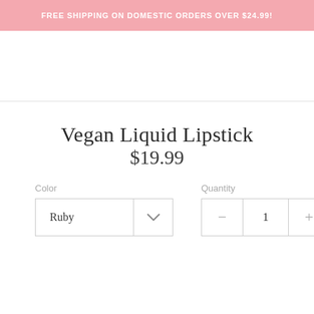FREE SHIPPING ON DOMESTIC ORDERS OVER $24.99!
Vegan Liquid Lipstick
$19.99
Color
Ruby
Quantity
1